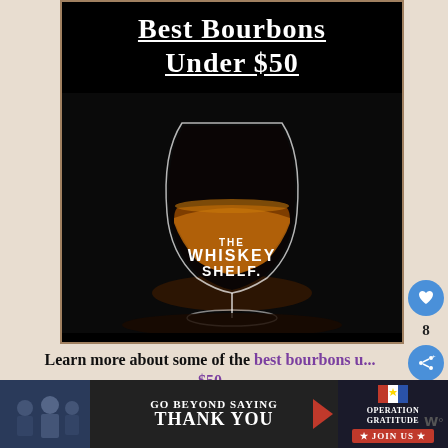[Figure (photo): Black background image showing a whiskey glass (Glencairn style) with amber liquid at the bottom, and 'THE WHISKEY SHELF' text logo overlaid at the bottom. Title text 'Best Bourbons Under $50' appears at top in white bold underlined font.]
Learn more about some of the best bourbons u... $50
[Figure (infographic): Advertisement banner: 'GO BEYOND SAYING THANK YOU' with Operation Gratitude logo and JOIN US button, with a photo of people on the left.]